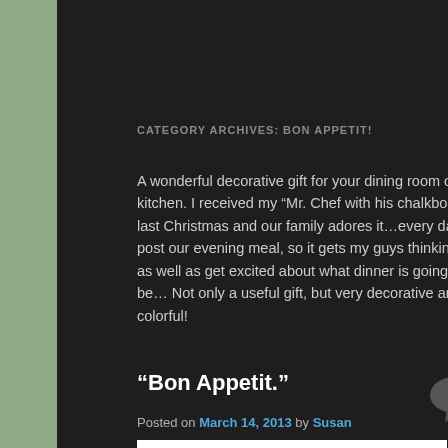Privacy Policy   Terms of Service
CATEGORY ARCHIVES: BON APPETIT!
A wonderful decorative gift for your dining room or kitchen. I received my “Mr. Chef with his chalkboard last Christmas and our family adores it…every day I post our evening meal, so it gets my guys thinking as well as get excited about what dinner is going to be… Not only a useful gift, but very decorative and colorful!
“Bon Appetit.”
Posted on March 14, 2013 by Susan
[Figure (illustration): Cartoon illustration of a chef character with a white chef hat, partially visible at the bottom of the page]